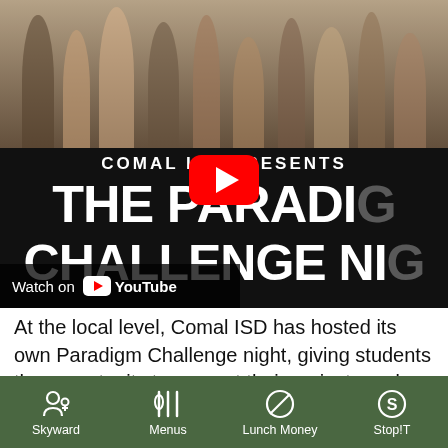[Figure (screenshot): YouTube video thumbnail for 'Comal ISD Presents The Paradigm Challenge Night' showing crowd of people in a gymnasium/cafeteria with a YouTube play button overlay and 'Watch on YouTube' label at bottom left.]
At the local level, Comal ISD has hosted its own Paradigm Challenge night, giving students the opportunity to present their projects and receive feedback from audience members, which includes parents and teachers. They are then challenged to take
[Figure (other): Bottom navigation bar with dark green background containing four navigation items: Skyward (person icon with plus), Menus (fork/knife/spoon icon), Lunch Money (circular icon), Stop!T (S icon)]